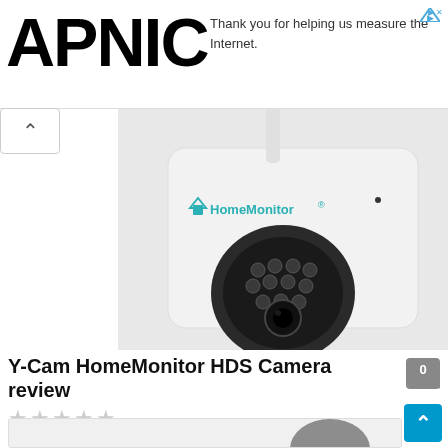APNIC — Thank you for helping us measure the Internet.
[Figure (photo): Y-Cam HomeMonitor HDS security camera, white box with black dome lens and antenna]
Y-Cam HomeMonitor HDS Camera review
[Figure (photo): Partial bottom preview of another camera image]